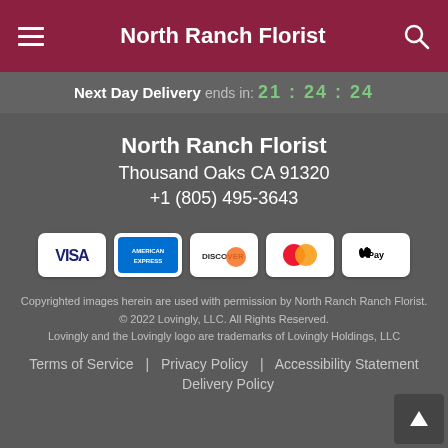North Ranch Florist
Next Day Delivery ends in: 21:24:24
North Ranch Florist
Thousand Oaks CA 91320
+1 (805) 495-3643
[Figure (other): Payment method icons: Visa, American Express, Discover, MasterCard, Apple Pay]
Copyrighted images herein are used with permission by North Ranch Florist.
© 2022 Lovingly, LLC. All Rights Reserved.
Lovingly and the Lovingly logo are trademarks of Lovingly Holdings, LLC
Terms of Service | Privacy Policy | Accessibility Statement | Delivery Policy